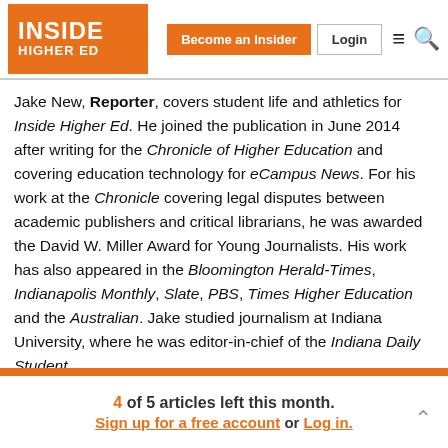Inside Higher Ed | Become an Insider | Login
Jake New, Reporter, covers student life and athletics for Inside Higher Ed. He joined the publication in June 2014 after writing for the Chronicle of Higher Education and covering education technology for eCampus News. For his work at the Chronicle covering legal disputes between academic publishers and critical librarians, he was awarded the David W. Miller Award for Young Journalists. His work has also appeared in the Bloomington Herald-Times, Indianapolis Monthly, Slate, PBS, Times Higher Education and the Australian. Jake studied journalism at Indiana University, where he was editor-in-chief of the Indiana Daily Student.
4 of 5 articles left this month. Sign up for a free account or Log in.